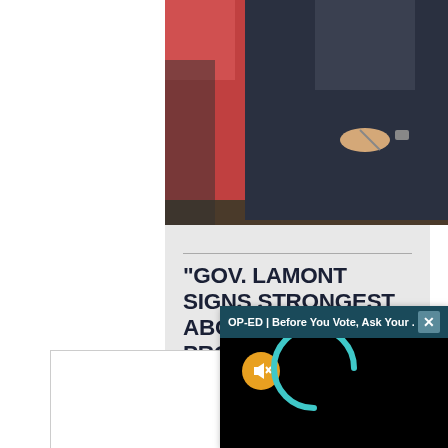[Figure (screenshot): Photo of a person in a dark suit signing documents at a desk, another person visible to the left in bright clothing. Video still from a signing ceremony.]
"GOV. LAMONT SIGNS STRONGEST ABORTION PROTECTIONS IN COUNTRY"
1010WINS | MAY 5, 2022
[Figure (screenshot): Overlay video popup: header bar reads 'OP-ED | Before You Vote, Ask Your ...' with an X close button. Video player area is black with a muted speaker icon (yellow/orange circle) and a teal loading spinner arc visible.]